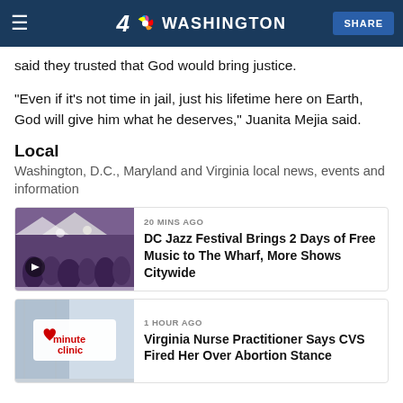NBC4 Washington — SHARE
said they trusted that God would bring justice.
“Even if it’s not time in jail, just his lifetime here on Earth, God will give him what he deserves,” Juanita Mejia said.
Local
Washington, D.C., Maryland and Virginia local news, events and information
[Figure (photo): Crowd at DC Jazz Festival event]
20 MINS AGO
DC Jazz Festival Brings 2 Days of Free Music to The Wharf, More Shows Citywide
[Figure (photo): CVS MinuteClinic signage]
1 HOUR AGO
Virginia Nurse Practitioner Says CVS Fired Her Over Abortion Stance